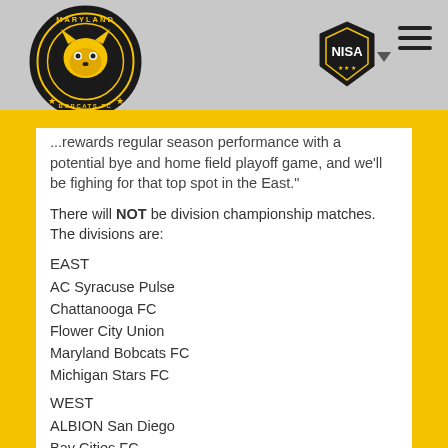Maryland Bobcats FC / NISA
...rewards regular season performance with a potential bye and home field playoff game, and we'll be fighing for that top spot in the East."
There will NOT be division championship matches. The divisions are:
EAST
AC Syracuse Pulse
Chattanooga FC
Flower City Union
Maryland Bobcats FC
Michigan Stars FC
WEST
ALBION San Diego
Bay Cities FC
California United Strikers FC